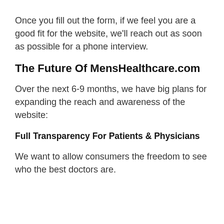Once you fill out the form, if we feel you are a good fit for the website, we'll reach out as soon as possible for a phone interview.
The Future Of MensHealthcare.com
Over the next 6-9 months, we have big plans for expanding the reach and awareness of the website:
Full Transparency For Patients & Physicians
We want to allow consumers the freedom to see who the best doctors are.